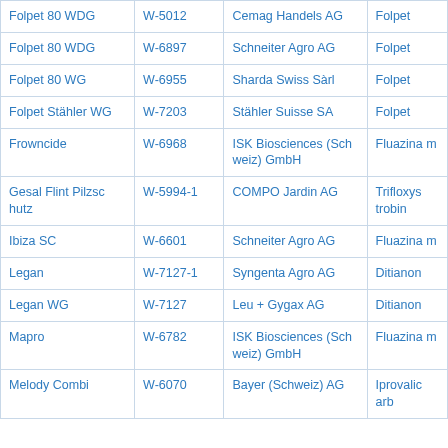| Folpet 80 WDG | W-5012 | Cemag Handels AG | Folpet |
| Folpet 80 WDG | W-6897 | Schneiter Agro AG | Folpet |
| Folpet 80 WG | W-6955 | Sharda Swiss Sàrl | Folpet |
| Folpet Stähler WG | W-7203 | Stähler Suisse SA | Folpet |
| Frowncide | W-6968 | ISK Biosciences (Schweiz) GmbH | Fluazinam |
| Gesal Flint Pilzschutz | W-5994-1 | COMPO Jardin AG | Trifloxystrobin |
| Ibiza SC | W-6601 | Schneiter Agro AG | Fluazinam |
| Legan | W-7127-1 | Syngenta Agro AG | Ditianon |
| Legan WG | W-7127 | Leu + Gygax AG | Ditianon |
| Mapro | W-6782 | ISK Biosciences (Schweiz) GmbH | Fluazinam |
| Melody Combi | W-6070 | Bayer (Schweiz) AG | Iprovalicarb |